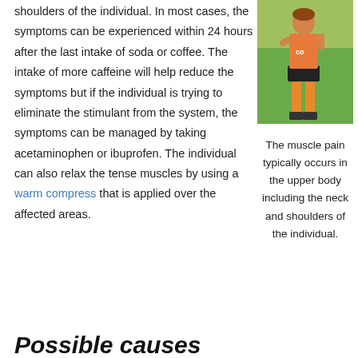shoulders of the individual. In most cases, the symptoms can be experienced within 24 hours after the last intake of soda or coffee. The intake of more caffeine will help reduce the symptoms but if the individual is trying to eliminate the stimulant from the system, the symptoms can be managed by taking acetaminophen or ibuprofen. The individual can also relax the tense muscles by using a warm compress that is applied over the affected areas.
[Figure (photo): Person standing outdoors on grass wearing an orange tank top and black shorts, holding something in their hand.]
The muscle pain typically occurs in the upper body including the neck and shoulders of the individual.
Possible causes